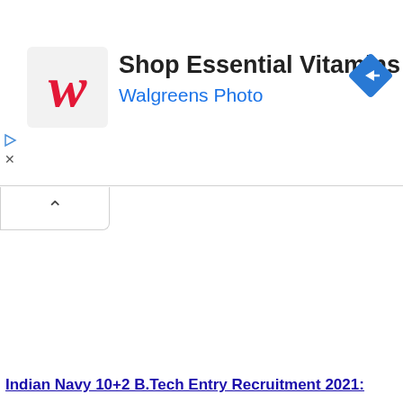[Figure (screenshot): Walgreens advertisement banner showing the Walgreens cursive W logo, text 'Shop Essential Vitamins' and 'Walgreens Photo', a blue diamond navigation icon on the right, and small play/close controls on the left edge.]
[Figure (screenshot): A collapse/minimize tab button with an upward caret (^) symbol, positioned below the ad banner.]
Indian Navy 10+2 B.Tech Entry Recruitment 2021: